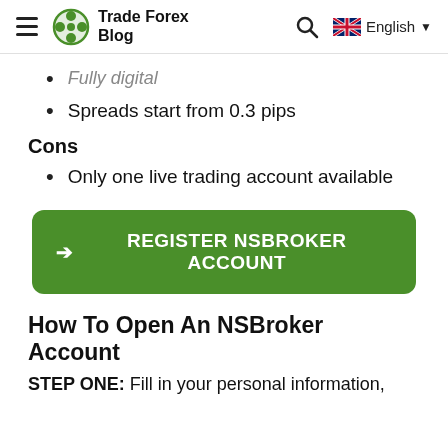Trade Forex Blog | Search | English
Fully digital
Spreads start from 0.3 pips
Cons
Only one live trading account available
[Figure (other): Green button: REGISTER NSBROKER ACCOUNT with arrow icon]
How To Open An NSBroker Account
STEP ONE: Fill in your personal information,